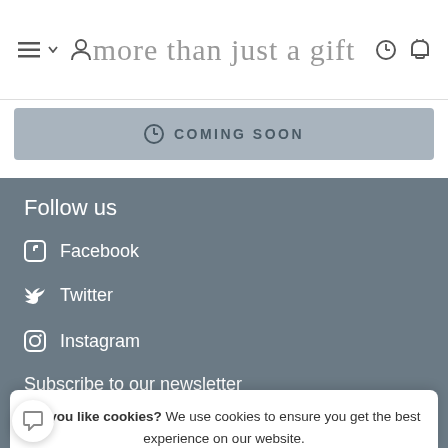more than just a gift
COMING SOON
Follow us
Facebook
Twitter
Instagram
Subscribe to our newsletter
Do you like cookies? We use cookies to ensure you get the best experience on our website.
I agree